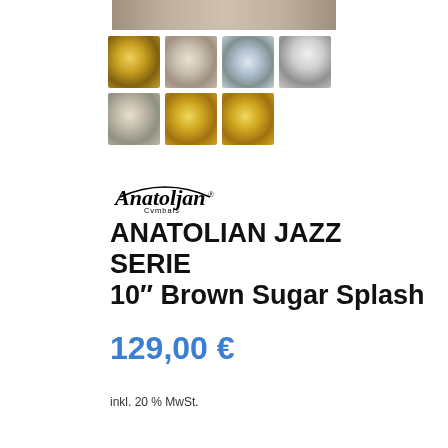[Figure (photo): Top banner showing partial cymbal image]
[Figure (photo): Grid of 7 product photos showing Anatolian cymbals from various angles]
[Figure (logo): Anatolian Cymbals logo with cursive text and arc decoration]
ANATOLIAN JAZZ SERIE 10" Brown Sugar Splash
129,00 €
inkl. 20 % MwSt.